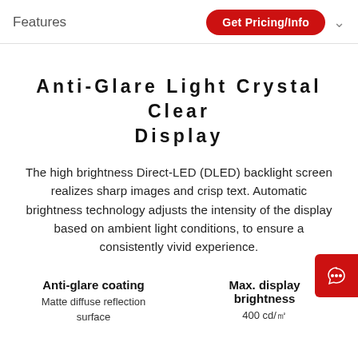Features  Get Pricing/Info
Anti-Glare Light Crystal Clear Display
The high brightness Direct-LED (DLED) backlight screen realizes sharp images and crisp text. Automatic brightness technology adjusts the intensity of the display based on ambient light conditions, to ensure a consistently vivid experience.
Anti-glare coating
Matte diffuse reflection surface
Max. display brightness
400 cd/㎡